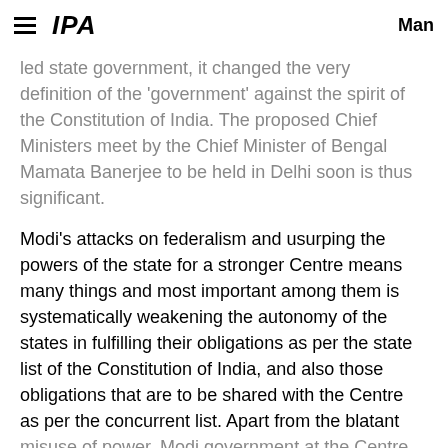≡ IPA  Man
led state government, it changed the very definition of the 'government' against the spirit of the Constitution of India. The proposed Chief Ministers meet by the Chief Minister of Bengal Mamata Banerjee to be held in Delhi soon is thus significant.
Modi's attacks on federalism and usurping the powers of the state for a stronger Centre means many things and most important among them is systematically weakening the autonomy of the states in fulfilling their obligations as per the state list of the Constitution of India, and also those obligations that are to be shared with the Centre as per the concurrent list. Apart from the blatant misuse of power, Modi government at the Centre